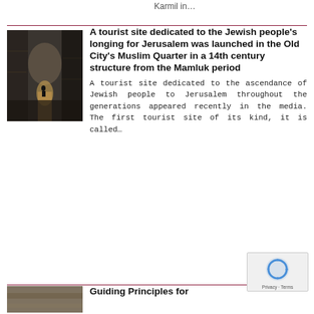Karmil in…
[Figure (photo): Stone archway corridor in an ancient structure, photo showing a vaulted passageway with light at the end]
A tourist site dedicated to the Jewish people's longing for Jerusalem was launched in the Old City's Muslim Quarter in a 14th century structure from the Mamluk period
A tourist site dedicated to the ascendance of Jewish people to Jerusalem throughout the generations appeared recently in the media. The first tourist site of its kind, it is called…
[Figure (photo): Partial photo of a second article at the bottom of the page]
Guiding Principles for